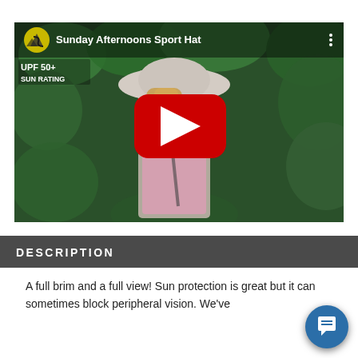[Figure (screenshot): YouTube video thumbnail showing a woman wearing a wide-brim sun hat (Sunday Afternoons Sport Hat) standing in front of green foliage. The video shows UPF 50+ SUN RATING badge. A red YouTube play button is centered on the thumbnail. The video title reads 'Sunday Afternoons Sport Hat'.]
DESCRIPTION
A full brim and a full view! Sun protection is great but it can sometimes block peripheral vision. We've